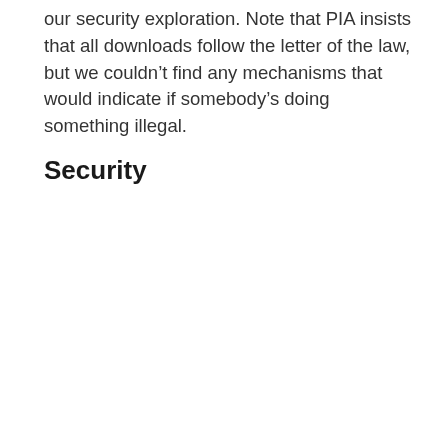our security exploration. Note that PIA insists that all downloads follow the letter of the law, but we couldn't find any mechanisms that would indicate if somebody's doing something illegal.
Security